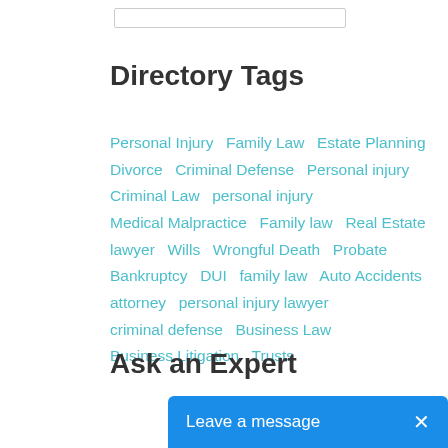Directory Tags
Personal Injury  Family Law  Estate Planning  Divorce  Criminal Defense  Personal injury  Criminal Law  personal injury  Medical Malpractice  Family law  Real Estate  lawyer  Wills  Wrongful Death  Probate  Bankruptcy  DUI  family law  Auto Accidents  attorney  personal injury lawyer  criminal defense  Business Law  Business Litigation  Trusts
Ask an Expert
Leave a message